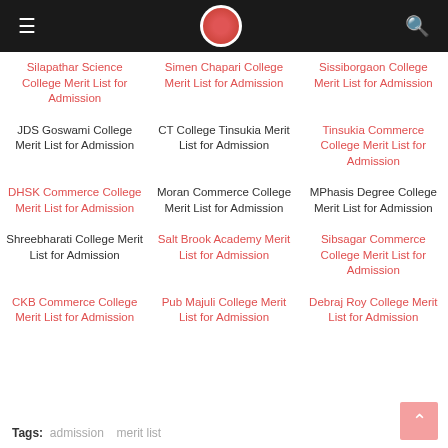Navigation header with hamburger menu, logo, and search icon
Silapathar Science College Merit List for Admission
Simen Chapari College Merit List for Admission
Sissiborgaon College Merit List for Admission
JDS Goswami College Merit List for Admission
CT College Tinsukia Merit List for Admission
Tinsukia Commerce College Merit List for Admission
DHSK Commerce College Merit List for Admission
Moran Commerce College Merit List for Admission
MPhasis Degree College Merit List for Admission
Shreebharati College Merit List for Admission
Salt Brook Academy Merit List for Admission
Sibsagar Commerce College Merit List for Admission
CKB Commerce College Merit List for Admission
Pub Majuli College Merit List for Admission
Debraj Roy College Merit List for Admission
Tags: admission   merit list